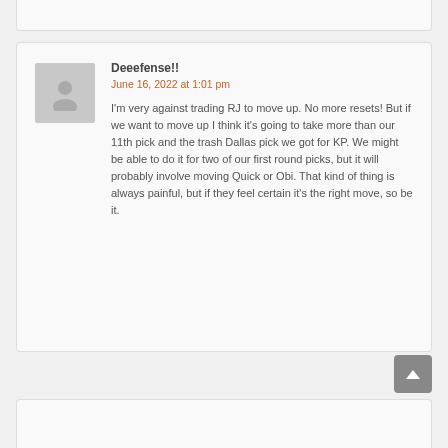Deeefense!!
June 16, 2022 at 1:01 pm
I'm very against trading RJ to move up. No more resets! But if we want to move up I think it's going to take more than our 11th pick and the trash Dallas pick we got for KP. We might be able to do it for two of our first round picks, but it will probably involve moving Quick or Obi. That kind of thing is always painful, but if they feel certain it's the right move, so be it.